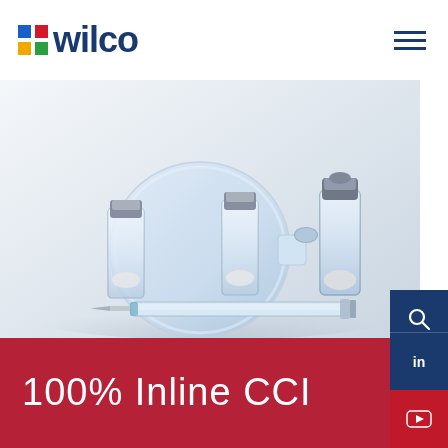[Figure (logo): Wilco logo with colorful cross/plus icon and dark blue 'wilco' wordmark]
[Figure (photo): Pharmaceutical vials and syringes on white background — glass vials with metal caps, a large round bottle on its side, and a syringe with needle, all arranged on a reflective white surface]
100% Inline CCI